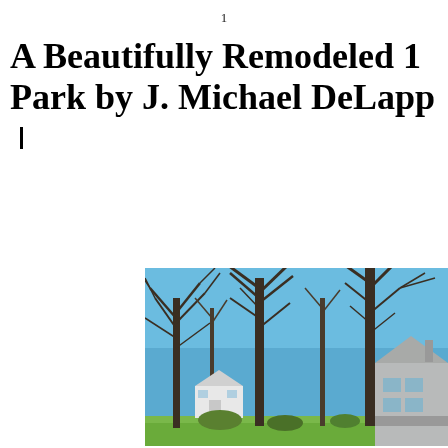1
A Beautifully Remodeled 1… Park by J. Michael DeLapp…
|
[Figure (photo): Exterior photo of a remodeled home surrounded by tall bare trees in winter, with a blue sky background. A white outbuilding and gray modern house are visible.]